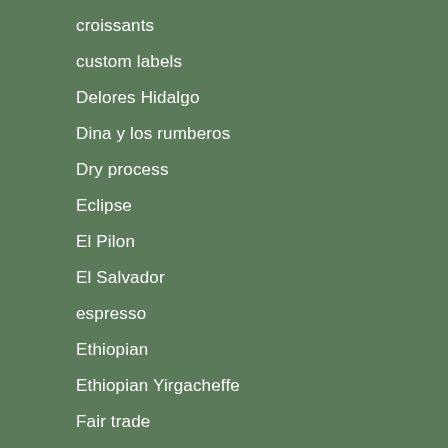croissants
custom labels
Delores Hidalgo
Dina y los rumberos
Dry process
Eclipse
El Pilon
El Salvador
espresso
Ethiopian
Ethiopian Yirgacheffe
Fair trade
Farm direct